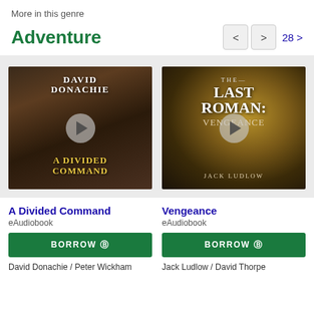More in this genre
Adventure
[Figure (screenshot): Book cover for 'A Divided Command' by David Donachie with play button overlay]
[Figure (screenshot): Book cover for 'Vengeance (The Last Roman)' by Jack Ludlow with play button overlay]
A Divided Command
eAudiobook
BORROW
David Donachie / Peter Wickham
Vengeance
eAudiobook
BORROW
Jack Ludlow / David Thorpe